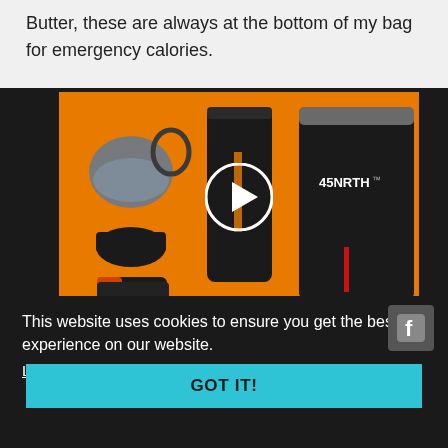Butter, these are always at the bottom of my bag for emergency calories.
[Figure (screenshot): Video thumbnail showing cycling gear (helmet, pants, jersey, gloves, accessories) laid flat on an orange background with a 45NRTH logo visible, overlaid with a circular play button.]
This website uses cookies to ensure you get the best experience on our website. Learn more
GOT IT!